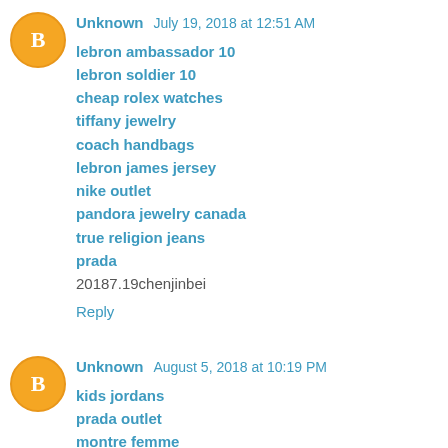Unknown  July 19, 2018 at 12:51 AM
lebron ambassador 10
lebron soldier 10
cheap rolex watches
tiffany jewelry
coach handbags
lebron james jersey
nike outlet
pandora jewelry canada
true religion jeans
prada
20187.19chenjinbei
Reply
Unknown  August 5, 2018 at 10:19 PM
kids jordans
prada outlet
montre femme
baseball bats
ralph lauren outlet